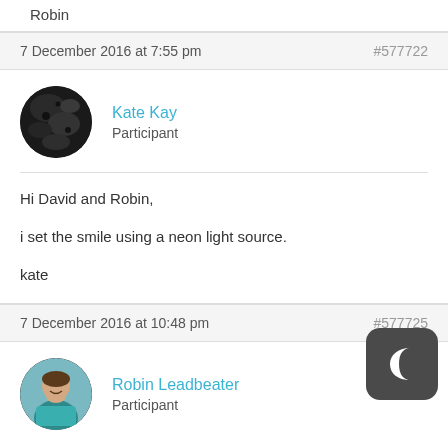Robin
7 December 2016 at 7:55 pm #577722
Kate Kay
Participant
Hi David and Robin,

i set the smile using a neon light source.

kate
7 December 2016 at 10:48 pm #577725
Robin Leadbeater
Participant
Hi Kate